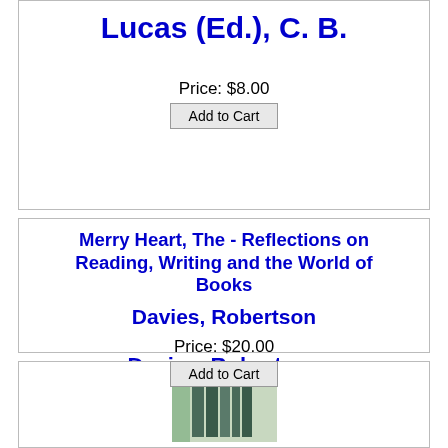Lucas (Ed.), C. B.
Price: $8.00
Add to Cart
Merry Heart, The - Reflections on Reading, Writing and the World of Books
Davies, Robertson
Price: $20.00
Add to Cart
[Figure (photo): Photo of a book with a teal/green cover spine, standing upright on a shelf]